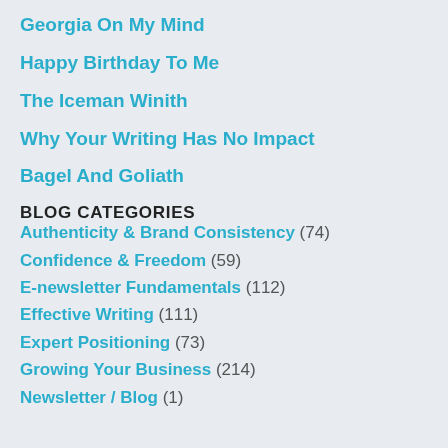Georgia On My Mind
Happy Birthday To Me
The Iceman Winith
Why Your Writing Has No Impact
Bagel And Goliath
BLOG CATEGORIES
Authenticity & Brand Consistency (74)
Confidence & Freedom (59)
E-newsletter Fundamentals (112)
Effective Writing (111)
Expert Positioning (73)
Growing Your Business (214)
Newsletter / Blog (1)